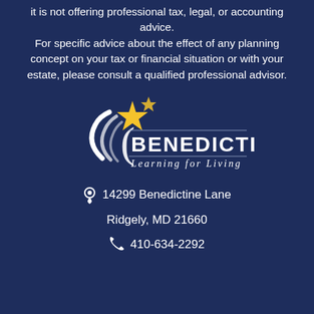it is not offering professional tax, legal, or accounting advice. For specific advice about the effect of any planning concept on your tax or financial situation or with your estate, please consult a qualified professional advisor.
[Figure (logo): Benedictine - Learning for Living logo with a yellow star and white swoosh/parenthesis design]
📍 14299 Benedictine Lane
Ridgely, MD 21660
📞 410-634-2292